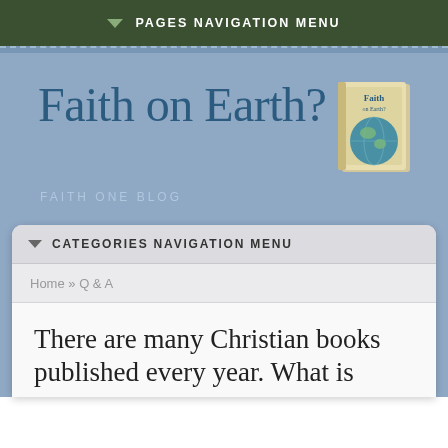▾ PAGES NAVIGATION MENU
Faith on Earth?
FAITH ONE BLOG
[Figure (illustration): Book cover showing 'Faith on Earth?' title with globe imagery]
▾ CATEGORIES NAVIGATION MENU
Home » Q & A
There are many Christian books published every year. What is